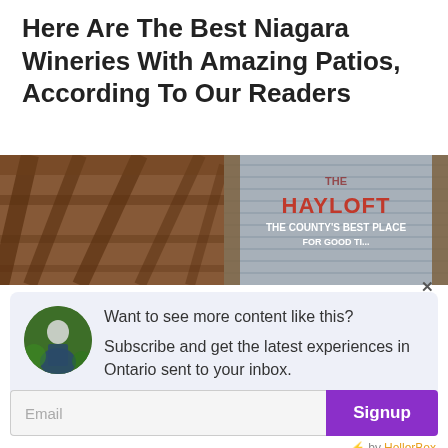Here Are The Best Niagara Wineries With Amazing Patios, According To Our Readers
[Figure (photo): A split photo showing barn interior wood beams on the left and a sign reading 'The Hayloft - The County's Best Place For...' on the right]
Want to see more content like this? Subscribe and get the latest experiences in Ontario sent to your inbox.